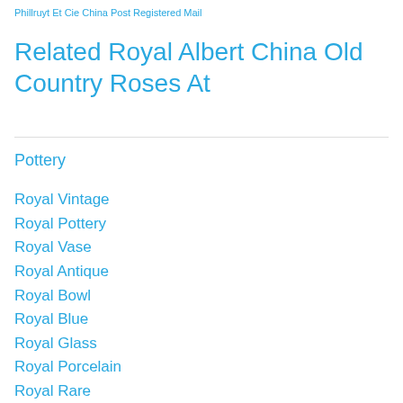Phillruyt Et Cie China Post Registered Mail
Related Royal Albert China Old Country Roses At
Pottery
Royal Vintage
Royal Pottery
Royal Vase
Royal Antique
Royal Bowl
Royal Blue
Royal Glass
Royal Porcelain
Royal Rare
Royal Large
Royal Plate
Royal Gold...